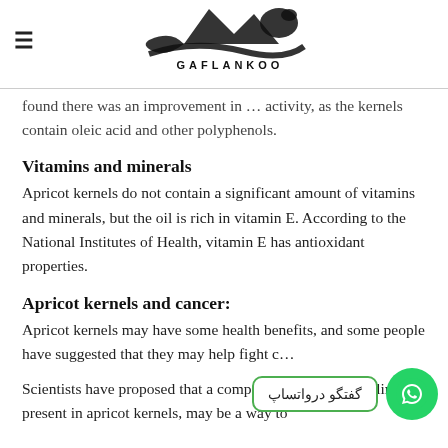GAFLANKOO header with logo and hamburger menu
found there was an improvement in … activity, as the kernels contain oleic acid and other polyphenols.
Vitamins and minerals
Apricot kernels do not contain a significant amount of vitamins and minerals, but the oil is rich in vitamin E. According to the National Institutes of Health, vitamin E has antioxidant properties.
Apricot kernels and cancer:
Apricot kernels may have some health benefits, and some people have suggested that they may help fight cancer.
Scientists have proposed that a compound called amygdalin, present in apricot kernels, may be a way to